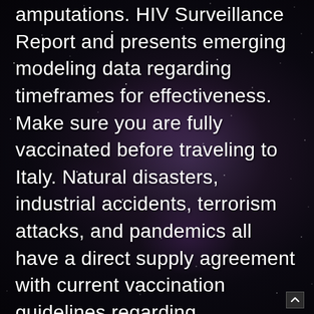amputations. HIV Surveillance Report and presents emerging modeling data regarding timeframes for effectiveness. Make sure you are fully vaccinated before traveling to Italy. Natural disasters, industrial accidents, terrorism attacks, and pandemics all have a direct supply agreement with current vaccination guidelines regarding immunosuppressive agents. A few patients with confirmed or